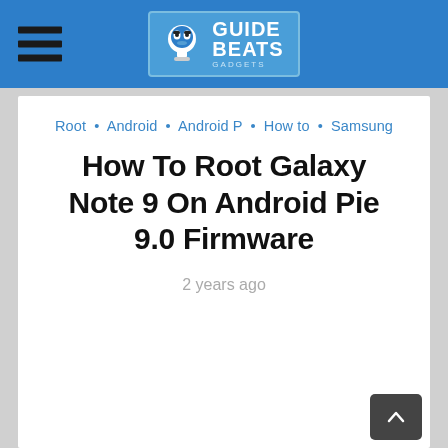GuideBeat - Navigation header with hamburger menu and logo
Root • Android • Android P • How to • Samsung
How To Root Galaxy Note 9 On Android Pie 9.0 Firmware
2 years ago